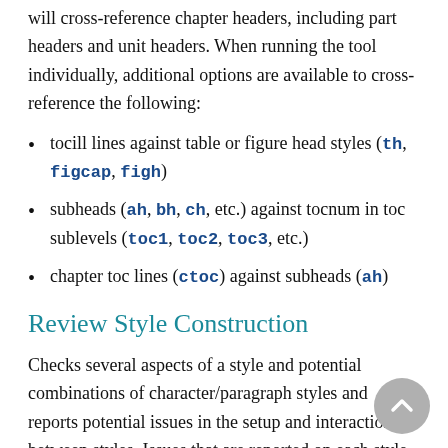will cross-reference chapter headers, including part headers and unit headers. When running the tool individually, additional options are available to cross-reference the following:
tocill lines against table or figure head styles (th, figcap, figh)
subheads (ah, bh, ch, etc.) against tocnum in toc sublevels (toc1, toc2, toc3, etc.)
chapter toc lines (ctoc) against subheads (ah)
Review Style Construction
Checks several aspects of a style and potential combinations of character/paragraph styles and reports potential issues in the setup and interaction between styles. Issues that are reported on each style include the following: